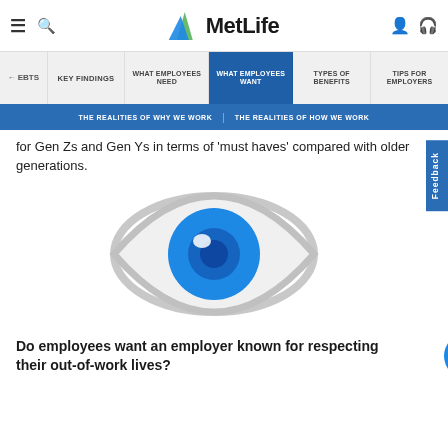MetLife
← EBTS | KEY FINDINGS | WHAT EMPLOYEES NEED | WHAT EMPLOYEES WANT | TYPES OF BENEFITS | TIPS FOR EMPLOYERS
THE REALITIES OF WHY WE WORK | THE REALITIES OF HOW WE WORK
for Gen Zs and Gen Ys in terms of 'must haves' compared with older generations.
[Figure (illustration): Large eye illustration with blue iris and white pupil highlight, grey outline]
Do employees want an employer known for respecting their out-of-work lives?